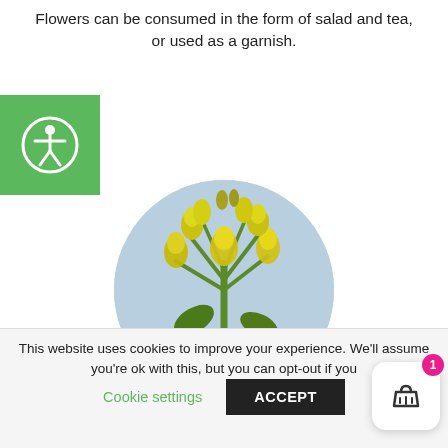Flowers can be consumed in the form of salad and tea, or used as a garnish.
[Figure (logo): Green square accessibility icon with white person-in-circle symbol]
[Figure (photo): Circular photo of yellow cowslip (Primula veris) flowers against a light blue sky background]
Cowslip (Primula veris)
This website uses cookies to improve your experience. We'll assume you're ok with this, but you can opt-out if you
Cookie settings  ACCEPT